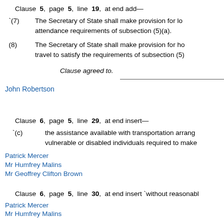Clause 5, page 5, line 19, at end add—
`(7)  The Secretary of State shall make provision for loc attendance requirements of subsection (5)(a).
(8)  The Secretary of State shall make provision for ho travel to satisfy the requirements of subsection (5)
Clause agreed to.
John Robertson
Clause 6, page 5, line 29, at end insert—
`(c)  the assistance available with transportation arrang vulnerable or disabled individuals required to make
Patrick Mercer
Mr Humfrey Malins
Mr Geoffrey Clifton Brown
Clause 6, page 5, line 30, at end insert `without reasonabl
Patrick Mercer
Mr Humfrey Malins
Mr Geoffrey Clifton-Brown
Mr Richard Allan
Mr Alistair Carmichael